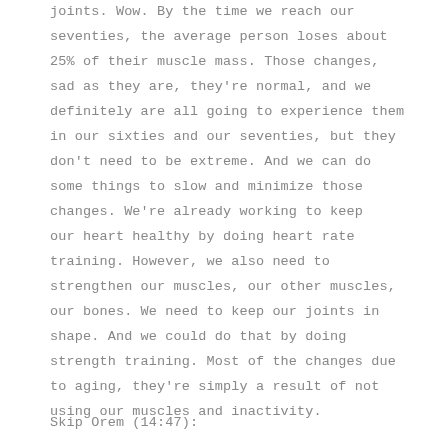joints. Wow. By the time we reach our seventies, the average person loses about 25% of their muscle mass. Those changes, sad as they are, they're normal, and we definitely are all going to experience them in our sixties and our seventies, but they don't need to be extreme. And we can do some things to slow and minimize those changes. We're already working to keep our heart healthy by doing heart rate training. However, we also need to strengthen our muscles, our other muscles, our bones. We need to keep our joints in shape. And we could do that by doing strength training. Most of the changes due to aging, they're simply a result of not using our muscles and inactivity.
Skip Orem (14:47):